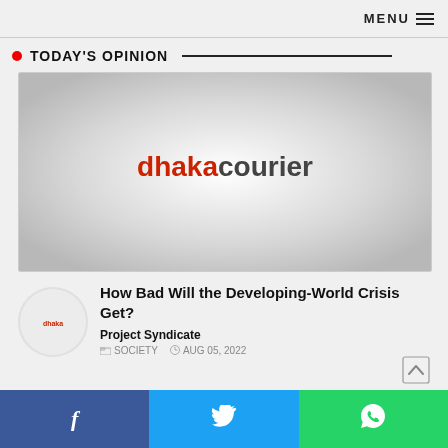MENU
TODAY'S OPINION
[Figure (logo): Dhaka Courier logo placeholder image with gradient gray background and red/black 'dhakacourier' text centered]
[Figure (logo): Small circular Dhaka Courier thumbnail/avatar]
How Bad Will the Developing-World Crisis Get?
Project Syndicate
SOCIETY  AUG 05, 2022
Facebook  Twitter  WhatsApp share buttons